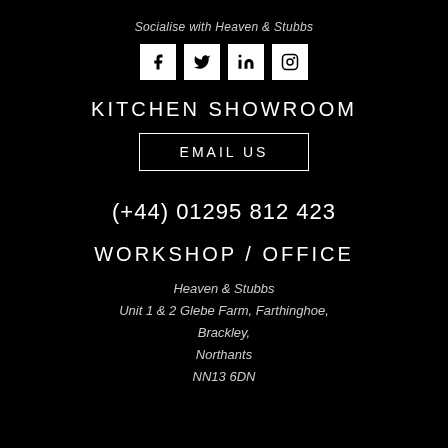Socialise with Heaven & Stubbs
[Figure (infographic): Four social media icons in white square boxes: Facebook (f), Twitter (bird), LinkedIn (in), Instagram (camera)]
KITCHEN SHOWROOM
EMAIL US
(+44) 01295 812 423
WORKSHOP / OFFICE
Heaven & Stubbs
Unit 1 & 2 Glebe Farm, Farthinghoe,
Brackley,
Northants
NN13 6DN